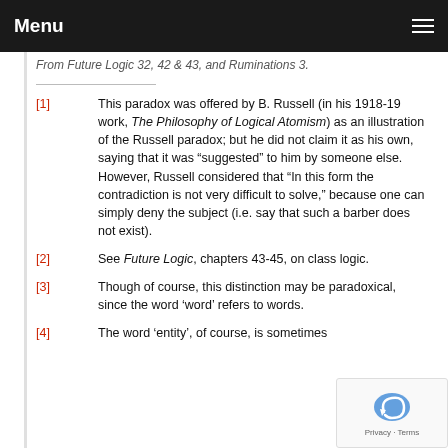Menu
From Future Logic 32, 42 & 43, and Ruminations 3.
[1]   This paradox was offered by B. Russell (in his 1918-19 work, The Philosophy of Logical Atomism) as an illustration of the Russell paradox; but he did not claim it as his own, saying that it was “suggested” to him by someone else. However, Russell considered that “In this form the contradiction is not very difficult to solve,” because one can simply deny the subject (i.e. say that such a barber does not exist).
[2]   See Future Logic, chapters 43-45, on class logic.
[3]   Though of course, this distinction may be paradoxical, since the word ‘word’ refers to words.
[4]   The word ‘entity’, of course, is sometimes